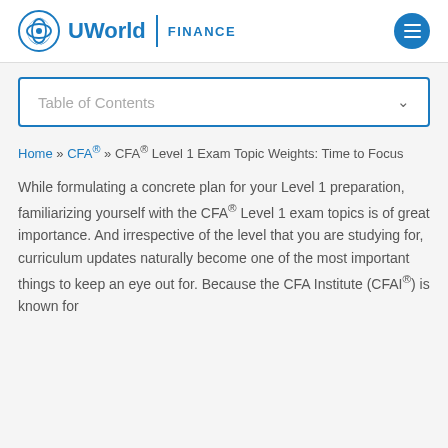UWorld FINANCE
Table of Contents
Home » CFA® » CFA® Level 1 Exam Topic Weights: Time to Focus
While formulating a concrete plan for your Level 1 preparation, familiarizing yourself with the CFA® Level 1 exam topics is of great importance. And irrespective of the level that you are studying for, curriculum updates naturally become one of the most important things to keep an eye out for. Because the CFA Institute (CFAI®) is known for